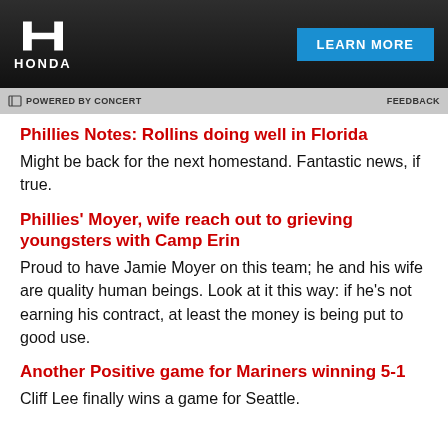[Figure (other): Honda advertisement banner with dark background, Honda H logo and wordmark on left, blue 'LEARN MORE' button on right]
POWERED BY CONCERT   FEEDBACK
Phillies Notes: Rollins doing well in Florida
Might be back for the next homestand. Fantastic news, if true.
Phillies' Moyer, wife reach out to grieving youngsters with Camp Erin
Proud to have Jamie Moyer on this team; he and his wife are quality human beings. Look at it this way: if he's not earning his contract, at least the money is being put to good use.
Another Positive game for Mariners winning 5-1
Cliff Lee finally wins a game for Seattle.